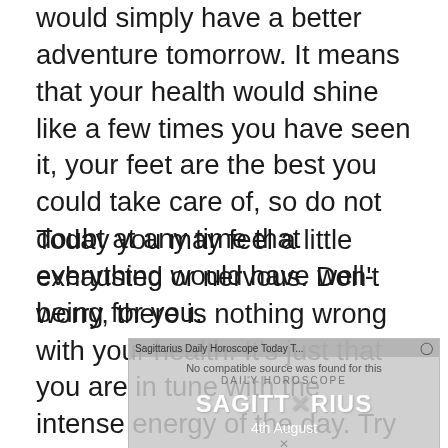would simply have a better adventure tomorrow. It means that your health would shine like a few times you have seen it, your feet are the best you could take care of, so do not doubt at any time that everything would have well-being for you.
Today you may feel a little exhausted or nervous. Don't worry, there is nothing wrong with your health. It's just that you are in tune with the intense energy of the day. Try to burn off this extra energy with some physical activity. Take your dog for a long walk. Jog downtown instead of driving. Do tasks
[Figure (screenshot): A partially visible video player overlay showing a Sagittarius Daily Horoscope video with text 'No compatible source was found for this media', 'SAGITTARIUS', 'X', '4th August', and a close button.]